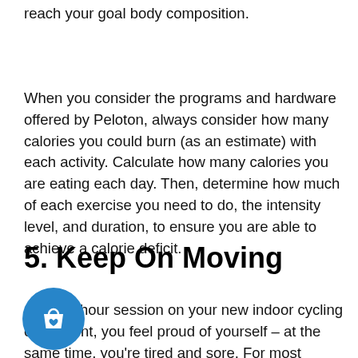reach your goal body composition.
When you consider the programs and hardware offered by Peloton, always consider how many calories you could burn (as an estimate) with each activity. Calculate how many calories you are eating each day. Then, determine how much of each exercise you need to do, the intensity level, and duration, to ensure you are able to achieve a calorie deficit.
5. Keep On Moving
After an hour session on your new indoor cycling equipment, you feel proud of yourself – at the same time, you're tired and sore. For most people